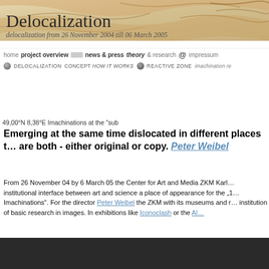[Figure (illustration): Website header banner with abstract colorful map/texture background]
Delocalization
delocalization from 26 November 2004 till 06 March 2005
home project overview | news & press | theory & research | @ impressum | DELOCALIZATION | CONCEPT how it works | REACTIVE ZONE | imachination r...
49,00°N 8,38°E Imachinations at the "sub...
Emerging at the same time dislocated in different places t... are both - either original or copy. Peter Weibel
From 26 November 04 by 6 March 05 the Center for Art and Media ZKM Karl... institutional interface between art and science a place of appearance for the „1... Imachinations". For the director Peter Weibel the ZKM with its museums and r... institution of basic research in images. In exhibitions like Iconoclash or the Al...